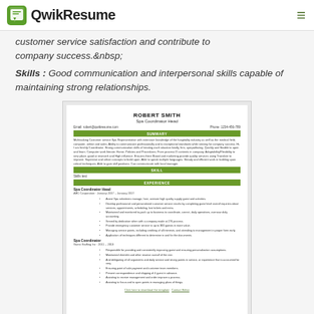QwikResume
customer service satisfaction and contribute to company success.
Skills : Good communication and interpersonal skills capable of maintaining strong relationships.
[Figure (screenshot): Screenshot of a resume for Robert Smith, Spa Coordinator Head, showing sections for Summary, Skills, and Job Experience with bullet points, formatted with green section header bars on a white page background.]